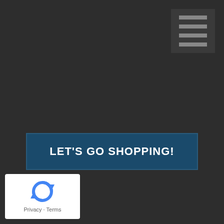[Figure (screenshot): Dark grey background webpage screenshot with hamburger menu icon in top right, a blue 'LET'S GO SHOPPING!' button near the bottom, and a reCAPTCHA badge in the bottom left corner]
LET'S GO SHOPPING!
[Figure (logo): reCAPTCHA badge with circular arrow logo and Privacy - Terms text]